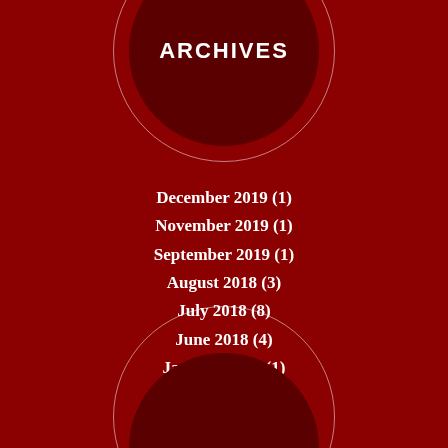ARCHIVES
December 2019 (1)
November 2019 (1)
September 2019 (1)
August 2018 (3)
July 2018 (8)
June 2018 (4)
January 2018 (1)
May 2017 (1)
August 2015 (1)
June 2015 (1)